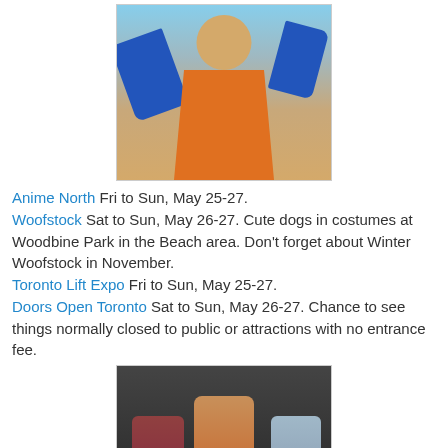[Figure (photo): Person in an orange and blue anime costume (Goku from Dragon Ball Z) outdoors]
Anime North Fri to Sun, May 25-27.
Woofstock Sat to Sun, May 26-27. Cute dogs in costumes at Woodbine Park in the Beach area. Don't forget about Winter Woofstock in November.
Toronto Lift Expo Fri to Sun, May 25-27.
Doors Open Toronto Sat to Sun, May 26-27. Chance to see things normally closed to public or attractions with no entrance fee.
[Figure (photo): Three women in fitness/bikini competition attire on a stage]